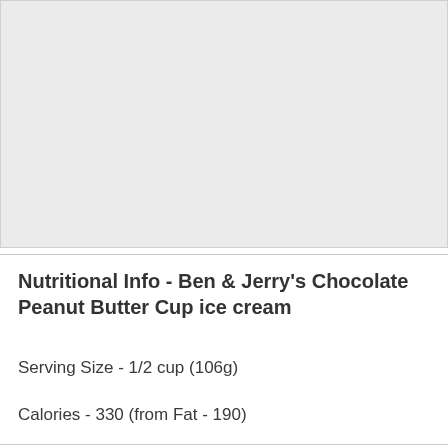[Figure (photo): Large gray placeholder image area at top of page]
Nutritional Info - Ben & Jerry's Chocolate Peanut Butter Cup ice cream
Serving Size - 1/2 cup (106g)
Calories - 330 (from Fat - 190)